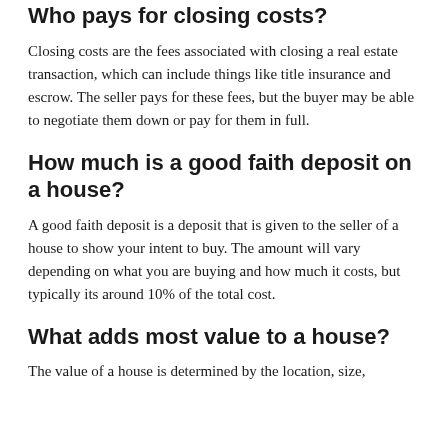Who pays for closing costs?
Closing costs are the fees associated with closing a real estate transaction, which can include things like title insurance and escrow. The seller pays for these fees, but the buyer may be able to negotiate them down or pay for them in full.
How much is a good faith deposit on a house?
A good faith deposit is a deposit that is given to the seller of a house to show your intent to buy. The amount will vary depending on what you are buying and how much it costs, but typically its around 10% of the total cost.
What adds most value to a house?
The value of a house is determined by the location, size,